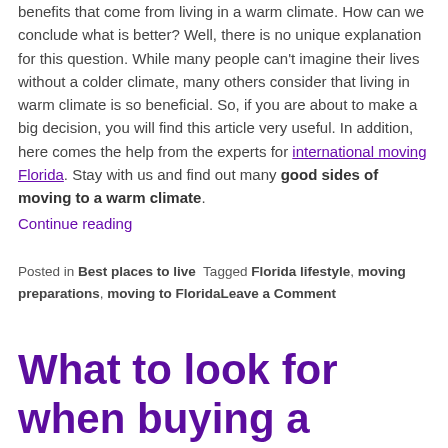benefits that come from living in a warm climate. How can we conclude what is better? Well, there is no unique explanation for this question. While many people can't imagine their lives without a colder climate, many others consider that living in warm climate is so beneficial. So, if you are about to make a big decision, you will find this article very useful. In addition, here comes the help from the experts for international moving Florida. Stay with us and find out many good sides of moving to a warm climate.
Continue reading
Posted in Best places to live Tagged Florida lifestyle, moving preparations, moving to FloridaLeave a Comment
What to look for when buying a vacation home in Florida?
Posted on December 20, 2020 by Nicole K.